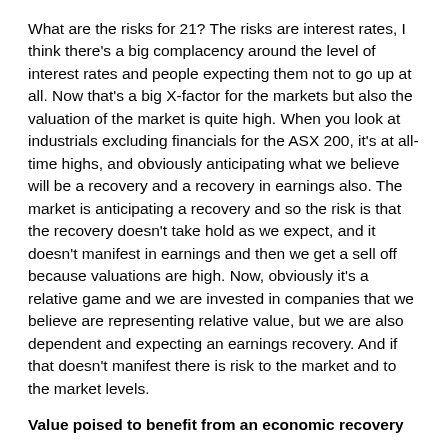What are the risks for 21? The risks are interest rates, I think there's a big complacency around the level of interest rates and people expecting them not to go up at all. Now that's a big X-factor for the markets but also the valuation of the market is quite high. When you look at industrials excluding financials for the ASX 200, it's at all-time highs, and obviously anticipating what we believe will be a recovery and a recovery in earnings also. The market is anticipating a recovery and so the risk is that the recovery doesn't take hold as we expect, and it doesn't manifest in earnings and then we get a sell off because valuations are high. Now, obviously it's a relative game and we are invested in companies that we believe are representing relative value, but we are also dependent and expecting an earnings recovery. And if that doesn't manifest there is risk to the market and to the market levels.
Value poised to benefit from an economic recovery
From our point of view as value investors, it's set up quite nicely and we think that being exposed as we are to domestic cyclical companies, and underweight US dollar owners, we think that it holds us in good stead for the year